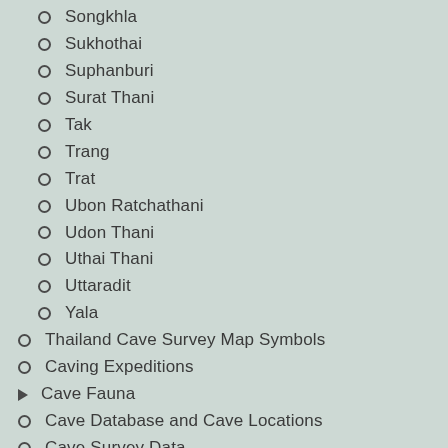Songkhla
Sukhothai
Suphanburi
Surat Thani
Tak
Trang
Trat
Ubon Ratchathani
Udon Thani
Uthai Thani
Uttaradit
Yala
Thailand Cave Survey Map Symbols
Caving Expeditions
Cave Fauna
Cave Database and Cave Locations
Cave Survey Data
ถ้ำในประเทศไทย